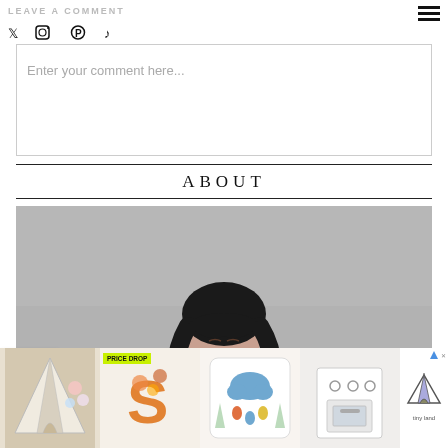LEAVE A COMMENT
Enter your comment here...
ABOUT
[Figure (photo): Portrait photo of a woman with long dark wavy hair and bangs against a grey background, eyes closed]
[Figure (infographic): Advertisement strip with four product images: a teepee tent, a fall letter decoration with PRICE DROP badge, a cloud raindrops pillow, a toy kitchen, and Tiny Land logo]